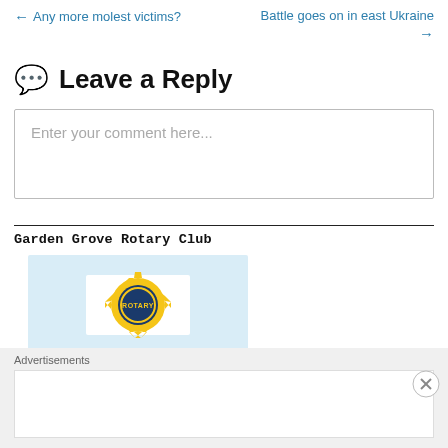← Any more molest victims?    Battle goes on in east Ukraine →
Leave a Reply
Enter your comment here...
Garden Grove Rotary Club
[Figure (logo): Rotary International logo — yellow gear with blue center reading ROTARY, on a light blue background]
Advertisements